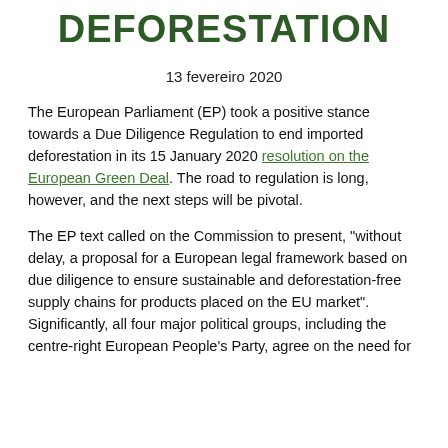DEFORESTATION
13 fevereiro 2020
The European Parliament (EP) took a positive stance towards a Due Diligence Regulation to end imported deforestation in its 15 January 2020 resolution on the European Green Deal. The road to regulation is long, however, and the next steps will be pivotal.
The EP text called on the Commission to present, “without delay, a proposal for a European legal framework based on due diligence to ensure sustainable and deforestation-free supply chains for products placed on the EU market”. Significantly, all four major political groups, including the centre-right European People’s Party, agree on the need for the regulation.